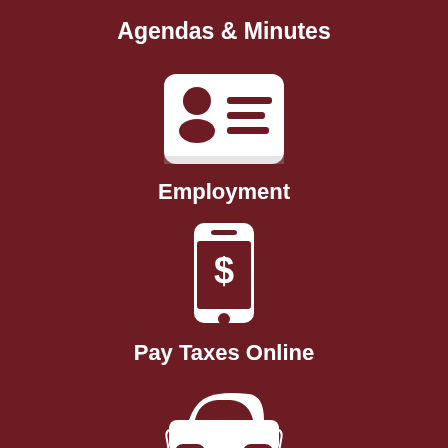Agendas & Minutes
[Figure (illustration): White icon of an ID card / contact card with a person silhouette and horizontal lines on a dark red background]
Employment
[Figure (illustration): White icon of a smartphone with a dollar sign on the screen on a dark red background]
Pay Taxes Online
[Figure (illustration): White icon of a car (front-facing view) on a dark red background]
Vehicle Registration
[Figure (illustration): White icon partially visible at the bottom, appears to be a person at a counter or desk on a dark red background]